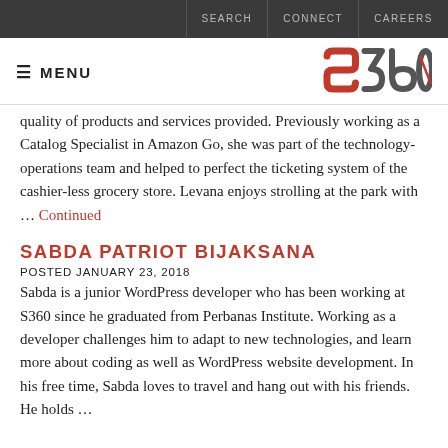SEARCH  CONNECT  CAREERS
≡ MENU  S360
quality of products and services provided. Previously working as a Catalog Specialist in Amazon Go, she was part of the technology-operations team and helped to perfect the ticketing system of the cashier-less grocery store. Levana enjoys strolling at the park with ... Continued
SABDA PATRIOT BIJAKSANA
POSTED JANUARY 23, 2018
Sabda is a junior WordPress developer who has been working at S360 since he graduated from Perbanas Institute. Working as a developer challenges him to adapt to new technologies, and learn more about coding as well as WordPress website development. In his free time, Sabda loves to travel and hang out with his friends. He holds ...